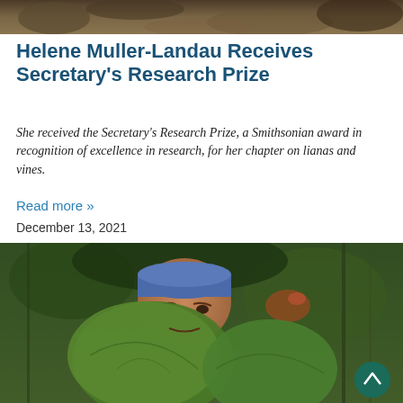[Figure (photo): Top banner image showing dense forest/jungle foliage with brown and green tones]
Helene Muller-Landau Receives Secretary's Research Prize
She received the Secretary's Research Prize, a Smithsonian award in recognition of excellence in research, for her chapter on lianas and vines.
Read more »
December 13, 2021
[Figure (photo): Person wearing a blue bandana in a tropical jungle setting, holding large green leaves in front of their face, with dense tropical vegetation in the background. A teal scroll-to-top button is visible in the lower right corner.]